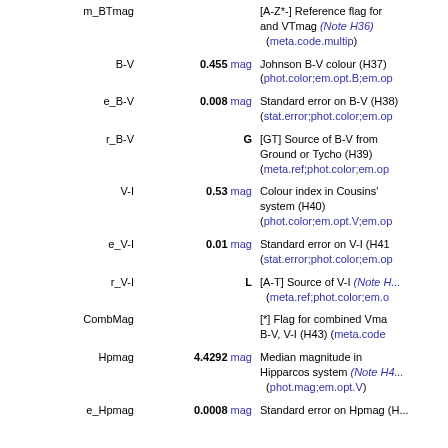| Field | Value | Description |
| --- | --- | --- |
| m_BTmag |  | [A-Z*-] Reference flag for and VTmag (Note H36) (meta.code.multip) |
| B-V | 0.455 mag | Johnson B-V colour (H37) (phot.color;em.opt.B;em.op |
| e_B-V | 0.008 mag | Standard error on B-V (H38) (stat.error;phot.color;em.op |
| r_B-V | G | [GT] Source of B-V from Ground or Tycho (H39) (meta.ref;phot.color;em.op |
| V-I | 0.53 mag | Colour index in Cousins' system (H40) (phot.color;em.opt.V;em.op |
| e_V-I | 0.01 mag | Standard error on V-I (H41) (stat.error;phot.color;em.op |
| r_V-I | L | [A-T] Source of V-I (Note H...) (meta.ref;phot.color;em.o |
| CombMag |  | [*] Flag for combined Vma B-V, V-I (H43) (meta.code |
| Hpmag | 4.4292 mag | Median magnitude in Hipparcos system (Note H4...) (phot.mag;em.opt.V) |
| e_Hpmag | 0.0008 mag | Standard error on Hpmag (H... |